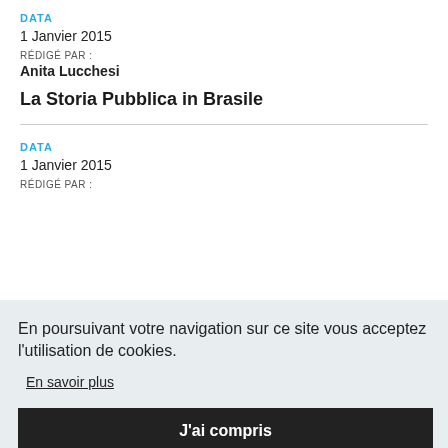DATA
1 Janvier 2015
RÉDIGÉ PAR :
Anita Lucchesi
La Storia Pubblica in Brasile
DATA
1 Janvier 2015
RÉDIGÉ PAR :
En poursuivant votre navigation sur ce site vous acceptez l'utilisation de cookies.
En savoir plus
J'ai compris
RÉDIGÉ PAR :
Anita Lucchesi